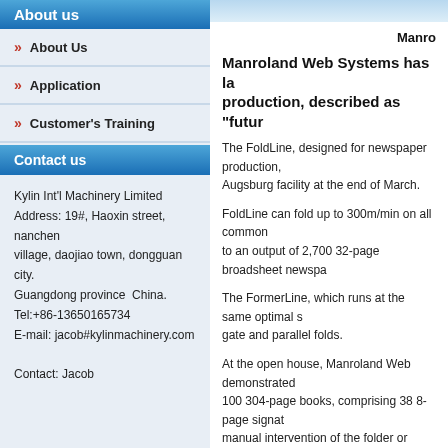About us
About Us
Application
Customer's Training
Contact us
Kylin Int'l Machinery Limited
Address: 19#, Haoxin street, nanchen village, daojiao town, dongguan city.
Guangdong province  China.
Tel:+86-13650165734
E-mail: jacob#kylinmachinery.com
Contact: Jacob
Manro
Manroland Web Systems has la production, described as "futur
The FoldLine, designed for newspaper production, Augsburg facility at the end of March.
FoldLine can fold up to 300m/min on all common to an output of 2,700 32-page broadsheet newspa
The FormerLine, which runs at the same optimal s gate and parallel folds.
At the open house, Manroland Web demonstrated 100 304-page books, comprising 38 8-page signat manual intervention of the folder or cutter, the ma
Both models can process web widths of 508mm, 7
The finishing machines are suited for high volume